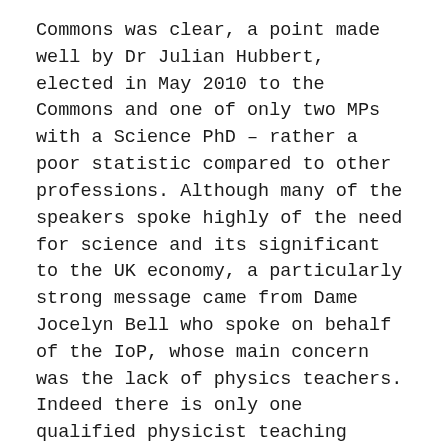Commons was clear, a point made well by Dr Julian Hubbert, elected in May 2010 to the Commons and one of only two MPs with a Science PhD – rather a poor statistic compared to other professions. Although many of the speakers spoke highly of the need for science and its significant to the UK economy, a particularly strong message came from Dame Jocelyn Bell who spoke on behalf of the IoP, whose main concern was the lack of physics teachers. Indeed there is only one qualified physicist teaching physics in Cumbria.
Overall, a key message which the meeting highlighted was that to increase the profile of Science (and Chemistry) on the political agenda, we should write to our local MPs, and do so regularly. Most MPs know little about science and